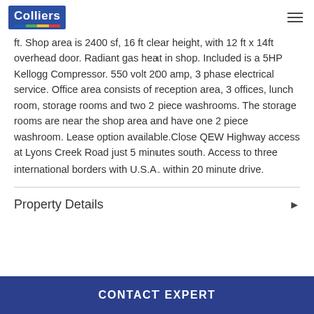Colliers
ft. Shop area is 2400 sf, 16 ft clear height, with 12 ft x 14ft overhead door. Radiant gas heat in shop. Included is a 5HP Kellogg Compressor. 550 volt 200 amp, 3 phase electrical service. Office area consists of reception area, 3 offices, lunch room, storage rooms and two 2 piece washrooms. The storage rooms are near the shop area and have one 2 piece washroom. Lease option available.Close QEW Highway access at Lyons Creek Road just 5 minutes south. Access to three international borders with U.S.A. within 20 minute drive.
Property Details
CONTACT EXPERT